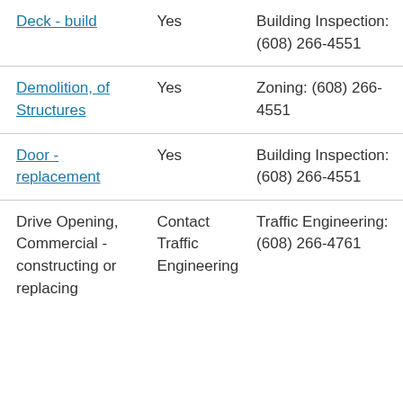| Deck - build | Yes | Building Inspection: (608) 266-4551 |
| Demolition, of Structures | Yes | Zoning: (608) 266-4551 |
| Door - replacement | Yes | Building Inspection: (608) 266-4551 |
| Drive Opening, Commercial - constructing or replacing | Contact Traffic Engineering | Traffic Engineering: (608) 266-4761 |